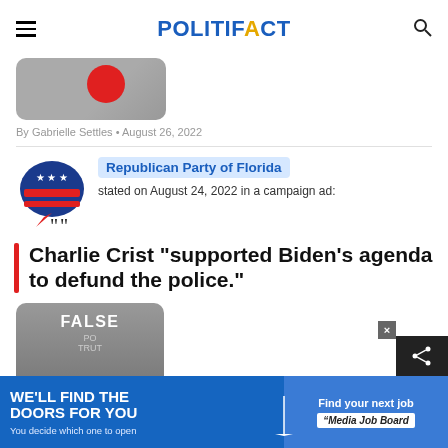POLITIFACT
[Figure (photo): Partially visible thumbnail image with red circle on gray background]
By Gabrielle Settles • August 26, 2022
[Figure (logo): Republican Party elephant logo with stars and stripes in blue and red]
Republican Party of Florida stated on August 24, 2022 in a campaign ad:
Charlie Crist "supported Biden's agenda to defund the police."
[Figure (photo): PolitiFact Truth-O-Meter dial showing FALSE rating on gray meter]
[Figure (infographic): Advertisement banner: WE'LL FIND THE DOORS FOR YOU / You decide which one to open / Find your next job / Media Job Board]